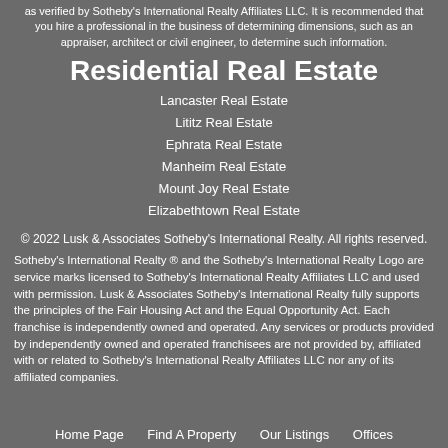as verified by Sotheby's International Realty Affiliates LLC. It is recommended that you hire a professional in the business of determining dimensions, such as an appraiser, architect or civil engineer, to determine such information.
Residential Real Estate
Lancaster Real Estate
Lititz Real Estate
Ephrata Real Estate
Manheim Real Estate
Mount Joy Real Estate
Elizabethtown Real Estate
© 2022 Lusk & Associates Sotheby's International Realty. All rights reserved.
Sotheby's International Realty ® and the Sotheby's International Realty Logo are service marks licensed to Sotheby's International Realty Affiliates LLC and used with permission. Lusk & Associates Sotheby's International Realty fully supports the principles of the Fair Housing Act and the Equal Opportunity Act. Each franchise is independently owned and operated. Any services or products provided by independently owned and operated franchisees are not provided by, affiliated with or related to Sotheby's International Realty Affiliates LLC nor any of its affiliated companies.
Home Page   Find A Property   Our Listings   Offices